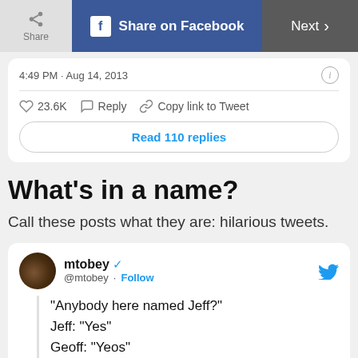[Figure (screenshot): Top navigation bar with Share button, Share on Facebook button, and Next button]
4:49 PM · Aug 14, 2013
23.6K  Reply  Copy link to Tweet
Read 110 replies
What's in a name?
Call these posts what they are: hilarious tweets.
mtobey @mtobey · Follow
"Anybody here named Jeff?"
Jeff: "Yes"
Geoff: "Yeos"